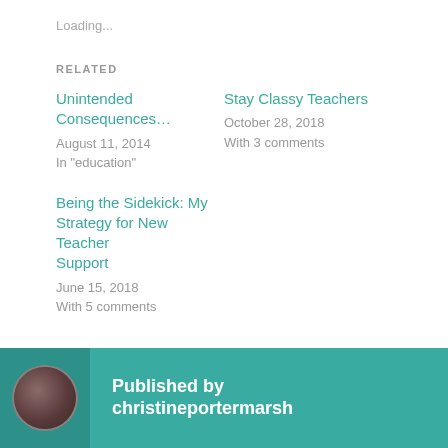Loading...
RELATED
Unintended Consequences...
August 11, 2014
In "education"
Stay Classy Teachers
October 28, 2018
With 3 comments
Being the Sidekick: My Strategy for New Teacher Support
June 15, 2018
With 5 comments
Published by christineportermarsh